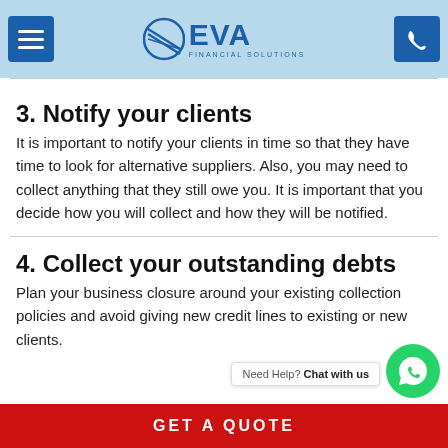EVA Financial Solutions
3. Notify your clients
It is important to notify your clients in time so that they have time to look for alternative suppliers. Also, you may need to collect anything that they still owe you. It is important that you decide how you will collect and how they will be notified.
4. Collect your outstanding debts
Plan your business closure around your existing collection policies and avoid giving new credit lines to existing or new clients.
GET A QUOTE